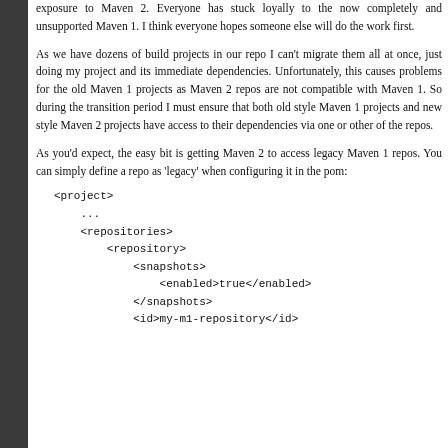exposure to Maven 2. Everyone has stuck loyally to the now completely and unsupported Maven 1. I think everyone hopes someone else will do the work first.
As we have dozens of build projects in our repo I can't migrate them all at once, just doing my project and its immediate dependencies. Unfortunately, this causes problems for the old Maven 1 projects as Maven 2 repos are not compatible with Maven 1. So during the transition period I must ensure that both old style Maven 1 projects and new style Maven 2 projects have access to their dependencies via one or other of the repos.
As you'd expect, the easy bit is getting Maven 2 to access legacy Maven 1 repos. You can simply define a repo as 'legacy' when configuring it in the pom:
<project>
    ...
    <repositories>
        <repository>
            <snapshots>
                <enabled>true</enabled>
            </snapshots>
            <id>my-m1-repository</id>